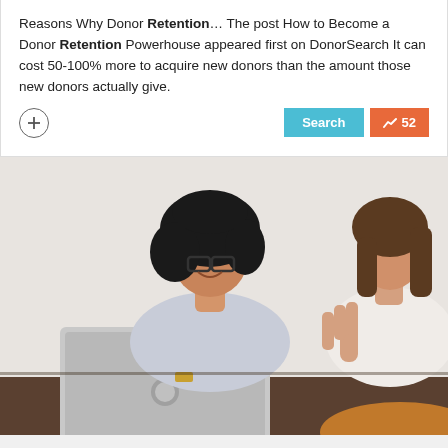Reasons Why Donor Retention… The post How to Become a Donor Retention Powerhouse appeared first on DonorSearch It can cost 50-100% more to acquire new donors than the amount those new donors actually give.
[Figure (screenshot): UI card with a plus/circle button on the left, and two buttons on the right: a teal 'Search' button and an orange trending button showing '52']
[Figure (photo): Two women at a table; one with curly hair and glasses laughing with a laptop, the other gesturing with her hand]